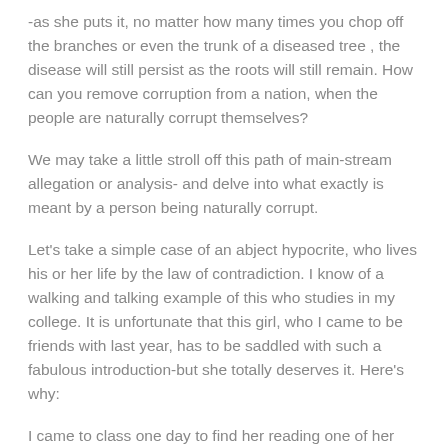-as she puts it, no matter how many times you chop off the branches or even the trunk of a diseased tree , the disease will still persist as the roots will still remain. How can you remove corruption from a nation, when the people are naturally corrupt themselves?
We may take a little stroll off this path of main-stream allegation or analysis- and delve into what exactly is meant by a person being naturally corrupt.
Let's take a simple case of an abject hypocrite, who lives his or her life by the law of contradiction. I know of a walking and talking example of this who studies in my college. It is unfortunate that this girl, who I came to be friends with last year, has to be saddled with such a fabulous introduction-but she totally deserves it. Here's why:
I came to class one day to find her reading one of her